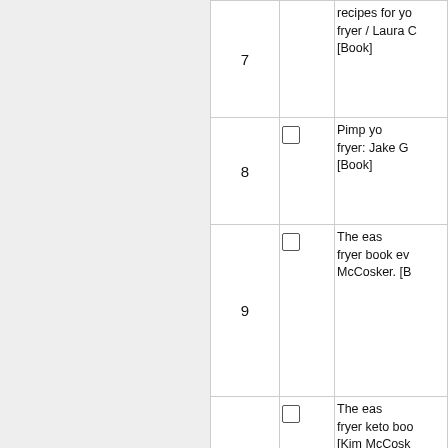| # | Check | Title |
| --- | --- | --- |
| 7 |  | recipes for yo fryer / Laura C [Book] |
| 8 |  | Pimp yo fryer: Jake G [Book] |
| 9 |  | The eas fryer book ev McCosker. [B |
| 10 |  | The eas fryer keto boo [Kim McCosk [Book] |
| 11 |  | Epic ai cookbook: 1 inspired reci |